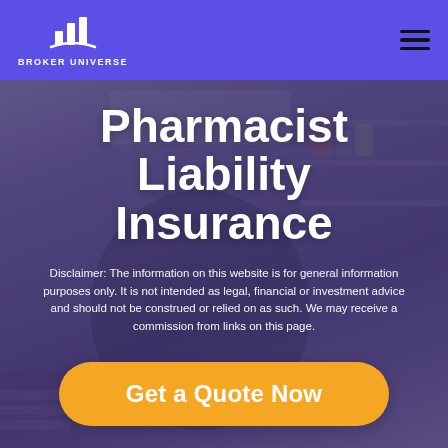BROKER UNIVERSE
Pharmacist Liability Insurance
Disclaimer: The information on this website is for general information purposes only. It is not intended as legal, financial or investment advice and should not be construed or relied on as such. We may receive a commission from links on this page.
Get a Quote Now